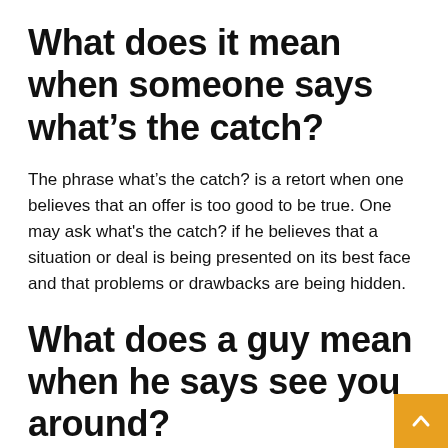What does it mean when someone says what’s the catch?
The phrase what’s the catch? is a retort when one believes that an offer is too good to be true. One may ask what's the catch? if he believes that a situation or deal is being presented on its best face and that problems or drawbacks are being hidden.
What does a guy mean when he says see you around?
It’s a phrase that ends a friendly encounter. It means I have some place to be or I’m simply walking away to continue my day. It has the same upholding as See you later, good-bye, later, til we meet again, and so on. It doesn't mean he likes, loves, ha anything else about it.